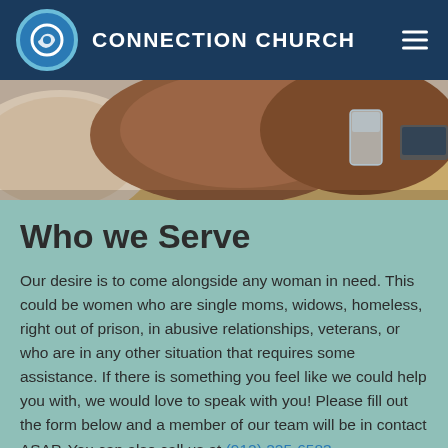CONNECTION CHURCH
[Figure (photo): Close-up photo of a couch with cushions, a wooden table, and a glass of water with a laptop partially visible in the background.]
Who we Serve
Our desire is to come alongside any woman in need. This could be women who are single moms, widows, homeless, right out of prison, in abusive relationships, veterans, or who are in any other situation that requires some assistance. If there is something you feel like we could help you with, we would love to speak with you! Please fill out the form below and a member of our team will be in contact ASAP. You can also call us at (912) 225-6583.